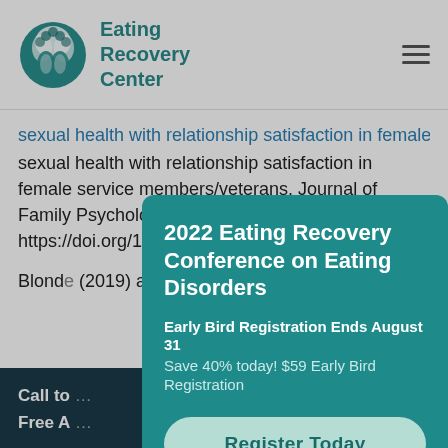Eating Recovery Center
sexual health with relationship satisfaction in female service members/veterans. Journal of Family Psychology, 33(2), 176-182. https://doi.org/10.1037/fam0000493
Blond... (2019)... among... nervo... publi... https:...
[Figure (screenshot): Modal popup overlay for 2022 Eating Recovery Conference on Eating Disorders with Early Bird Registration Ends August 31 and Register Today button]
Call to...
Free A...